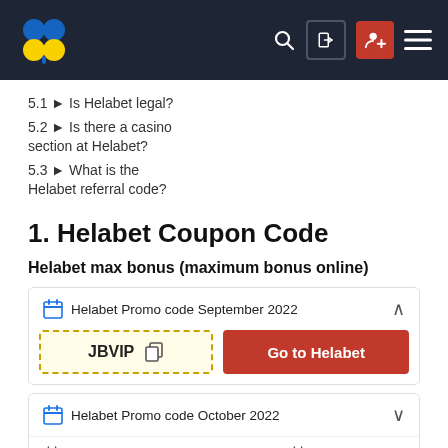[Figure (screenshot): Navigation bar with blue and yellow clover logo, search icon, login icon, red add-user icon, and hamburger menu on dark background]
5.1 ▶ Is Helabet legal?
5.2 ▶ Is there a casino section at Helabet?
5.3 ▶ What is the Helabet referral code?
1. Helabet Coupon Code
Helabet max bonus (maximum bonus online)
Helabet Promo code September 2022
JBVIP   Go to Helabet
Helabet Promo code October 2022
November 2022   December 2022